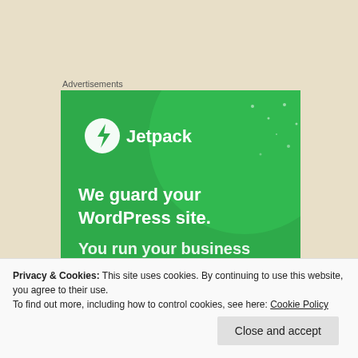Advertisements
[Figure (illustration): Jetpack advertisement banner with green background. Shows Jetpack logo (lightning bolt in circle) with text 'Jetpack', then 'We guard your WordPress site.' and partially visible 'You run your business.']
Neither son’s response is perfect in this story. It’s not that you should do everything that the first son…
Privacy & Cookies: This site uses cookies. By continuing to use this website, you agree to their use.
To find out more, including how to control cookies, see here: Cookie Policy
Close and accept